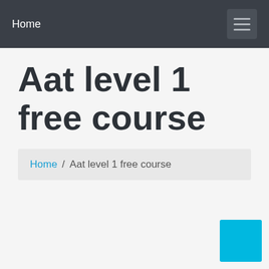Home
Aat level 1 free course
Home / Aat level 1 free course